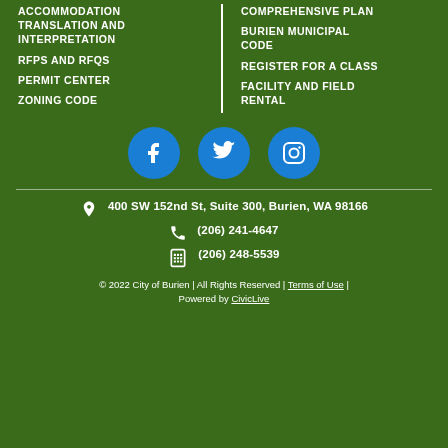ACCOMMODATION TRANSLATION AND INTERPRETATION
RFPS AND RFQS
PERMIT CENTER
ZONING CODE
COMPREHENSIVE PLAN
BURIEN MUNICIPAL CODE
REGISTER FOR A CLASS
FACILITY AND FIELD RENTAL
[Figure (infographic): Three blue circular social media icons: Facebook, Twitter, Instagram]
400 SW 152nd St, Suite 300, Burien, WA 98166
(206) 241-4647
(206) 248-5539
© 2022 City of Burien | All Rights Reserved | Terms of Use | Powered by CivicLive